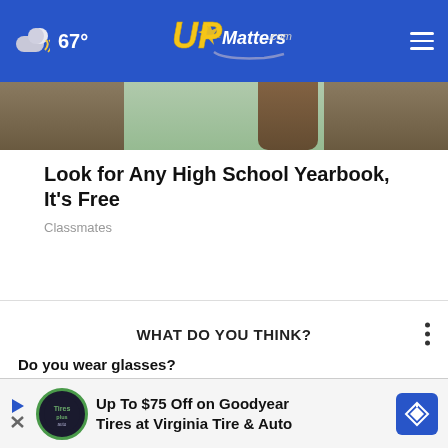67° UPMatters.com
[Figure (photo): Partial photo of a person wearing a light green sweater with brown hair visible]
Look for Any High School Yearbook, It's Free
Classmates
WHAT DO YOU THINK?
Do you wear glasses?
Yes, all the time
Yes, sometimes
No, but I wear contacts
[Figure (screenshot): Advertisement: Up To $75 Off on Goodyear Tires at Virginia Tire & Auto with Tires Plus Auto logo and navigation badge]